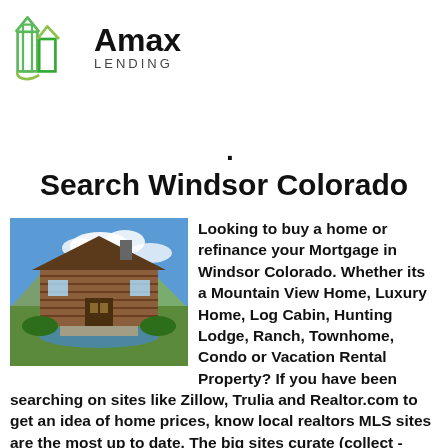[Figure (logo): Amax Lending logo with green building icon and bold text]
Search Windsor Colorado
[Figure (photo): Photo of a large log cabin / mountain home with pool and landscaping]
Looking to buy a home or refinance your Mortgage in Windsor Colorado. Whether its a Mountain View Home, Luxury Home, Log Cabin, Hunting Lodge, Ranch, Townhome, Condo or Vacation Rental Property? If you have been searching on sites like Zillow, Trulia and Realtor.com to get an idea of home prices, know local realtors MLS sites are the most up to date. The big sites curate (collect - compile - not MLS Direct)